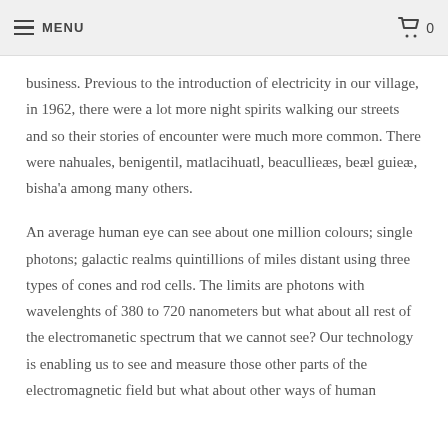MENU  0
business. Previous to the introduction of electricity in our village, in 1962, there were a lot more night spirits walking our streets and so their stories of encounter were much more common. There were nahuales, benigentil, matlacihuatl, beacullieæs, beæl guieæ, bisha'a among many others.
An average human eye can see about one million colours; single photons; galactic realms quintillions of miles distant using three types of cones and rod cells. The limits are photons with wavelenghts of 380 to 720 nanometers but what about all rest of the electromanetic spectrum that we cannot see? Our technology is enabling us to see and measure those other parts of the electromagnetic field but what about other ways of human